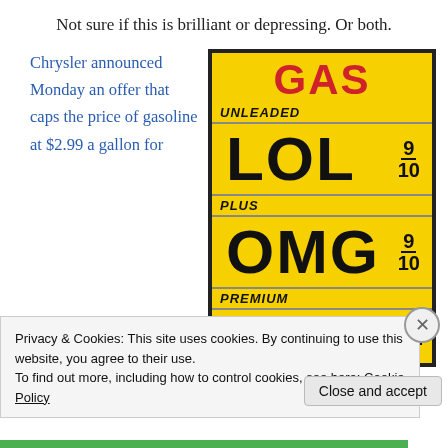Not sure if this is brilliant or depressing. Or both.
Chrysler announced Monday an offer that caps the price of gasoline at $2.99 a gallon for
[Figure (photo): A yellow gas station price sign showing GAS / UNLEADED / LOL 9/10 / PLUS / OMG 9/10 / PREMIUM / (partially visible row)]
Privacy & Cookies: This site uses cookies. By continuing to use this website, you agree to their use.
To find out more, including how to control cookies, see here: Cookie Policy
Close and accept